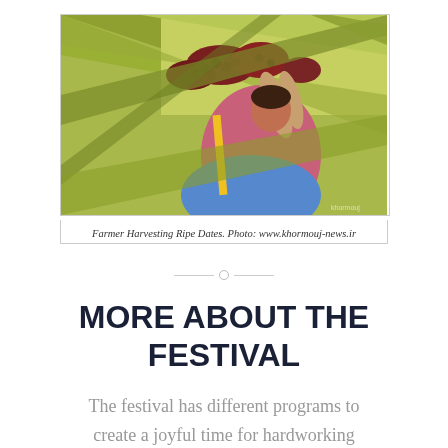[Figure (photo): A farmer harvesting ripe dates from a palm tree, surrounded by green palm fronds and clusters of dark red dates.]
Farmer Harvesting Ripe Dates. Photo: www.khormouj-news.ir
MORE ABOUT THE FESTIVAL
The festival has different programs to create a joyful time for hardworking